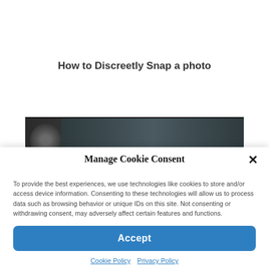How to Discreetly Snap a photo
[Figure (photo): Dark image strip showing a person's silhouette or head on the left and a dark room background]
Manage Cookie Consent
To provide the best experiences, we use technologies like cookies to store and/or access device information. Consenting to these technologies will allow us to process data such as browsing behavior or unique IDs on this site. Not consenting or withdrawing consent, may adversely affect certain features and functions.
Accept
Cookie Policy   Privacy Policy